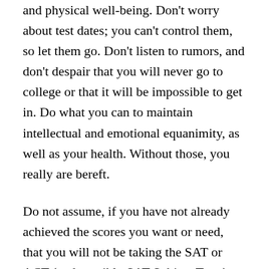and physical well-being. Don't worry about test dates; you can't control them, so let them go. Don't listen to rumors, and don't despair that you will never go to college or that it will be impossible to get in. Do what you can to maintain intellectual and emotional equanimity, as well as your health. Without those, you really are bereft.
Do not assume, if you have not already achieved the scores you want or need, that you will not be taking the SAT or ACT (and possibly SAT Subject Tests) before you apply to college. The College Board and ACT are big and capable organizations with smart people working on the problem of testing as many current high school juniors as possible before next